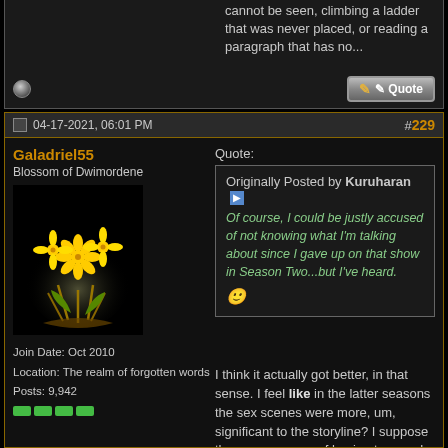cannot be seen, climbing a ladder that was never placed, or reading a paragraph that has no...
04-17-2021, 06:01 PM
#229
Galadriel55
Blossom of Dwimordene
Join Date: Oct 2010
Location: The realm of forgotten words
Posts: 9,942
Quote:
Originally Posted by Kuruharan
Of course, I could be justly accused of not knowing what I'm talking about since I gave up on that show in Season Two...but I've heard. 🙂
I think it actually got better, in that sense. I feel like in the latter seasons the sex scenes were more, um, significant to the storyline? I suppose the consequence of having too much story for your time and budget is that you cut out the